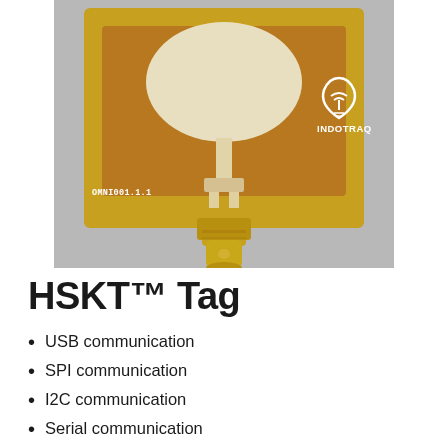[Figure (photo): Photo of an OMNI001.1.1 INDOTRAQ antenna PCB board with a gold SMA connector, showing an oval-shaped patch antenna on a yellow/brown flexible PCB substrate with the INDOTRAQ logo.]
HSKT™ Tag
USB communication
SPI communication
I2C communication
Serial communication
Spare IO for your own purpose
Internal tag has a small attached antenna as